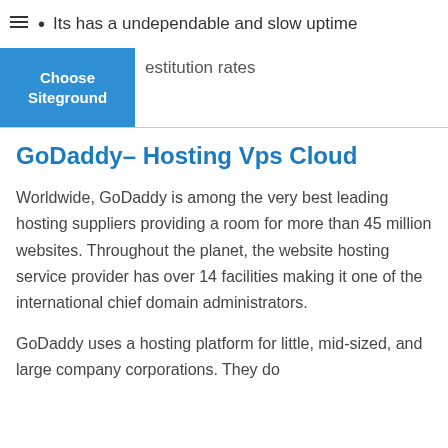Its has a undependable and slow uptime
estitution rates
Choose Siteground
GoDaddy– Hosting Vps Cloud
Worldwide, GoDaddy is among the very best leading hosting suppliers providing a room for more than 45 million websites. Throughout the planet, the website hosting service provider has over 14 facilities making it one of the international chief domain administrators.
GoDaddy uses a hosting platform for little, mid-sized, and large company corporations. They do